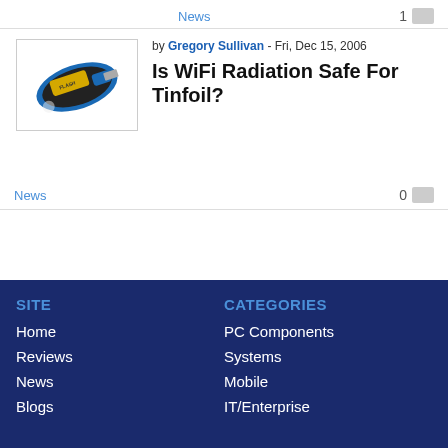News  1
[Figure (photo): Photo of a black and blue USB flash drive with yellow label]
by Gregory Sullivan - Fri, Dec 15, 2006
Is WiFi Radiation Safe For Tinfoil?
News  0
SITE
CATEGORIES
Home
PC Components
Reviews
Systems
News
Mobile
Blogs
IT/Enterprise